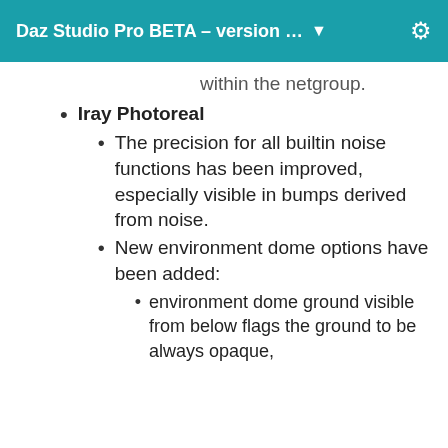Daz Studio Pro BETA – version … ▼
within the netgroup.
Iray Photoreal
The precision for all builtin noise functions has been improved, especially visible in bumps derived from noise.
New environment dome options have been added:
environment dome ground visible from below flags the ground to be always opaque,